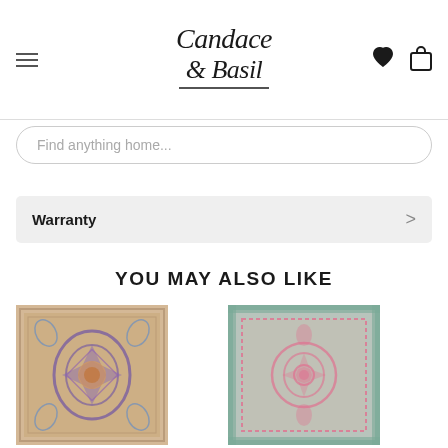Candace & Basil — navigation header with hamburger menu, logo, heart icon, and bag icon
Find anything home...
Warranty
YOU MAY ALSO LIKE
[Figure (photo): Purple and gold ornate medallion area rug with floral pattern]
[Figure (photo): Pink and teal vintage-style medallion area rug]